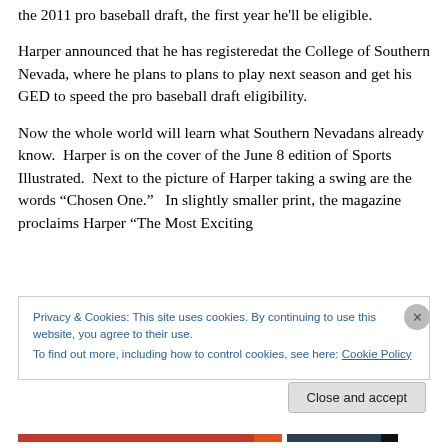the 2011 pro baseball draft, the first year he'll be eligible.
Harper announced that he has registeredat the College of Southern Nevada, where he plans to plans to play next season and get his GED to speed the pro baseball draft eligibility.
Now the whole world will learn what Southern Nevadans already know.  Harper is on the cover of the June 8 edition of Sports Illustrated.  Next to the picture of Harper taking a swing are the words “Chosen One.”   In slightly smaller print, the magazine proclaims Harper “The Most Exciting
Privacy & Cookies: This site uses cookies. By continuing to use this website, you agree to their use.
To find out more, including how to control cookies, see here: Cookie Policy